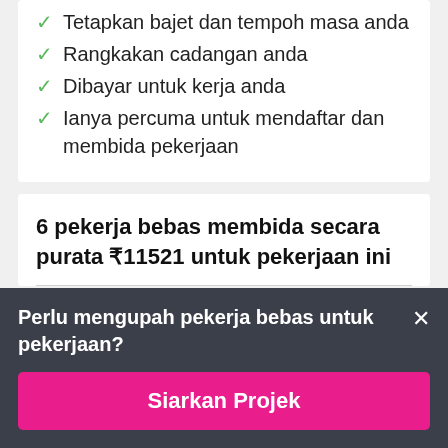Tetapkan bajet dan tempoh masa anda
Rangkakan cadangan anda
Dibayar untuk kerja anda
Ianya percuma untuk mendaftar dan membida pekerjaan
6 pekerja bebas membida secara purata ₹11521 untuk pekerjaan ini
Perlu mengupah pekerja bebas untuk pekerjaan?
Siarkan Projek